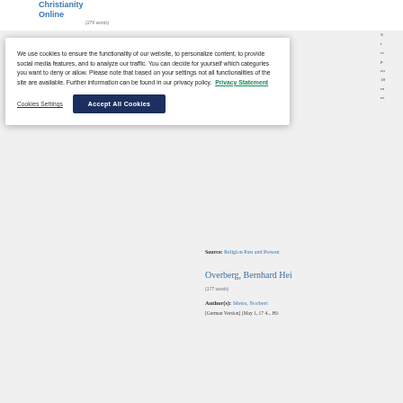Christianity Online (279 words)
We use cookies to ensure the functionality of our website, to personalize content, to provide social media features, and to analyze our traffic. You can decide for yourself which categories you want to deny or allow. Please note that based on your settings not all functionalities of the site are available. Further information can be found in our privacy policy. Privacy Statement
Cookies Settings
Accept All Cookies
Source: Religion Past and Present
Overberg, Bernhard Hei...
(177 words)
Author(s): Mette, Norbert
[German Version] (May 1, 17 4... Hö...